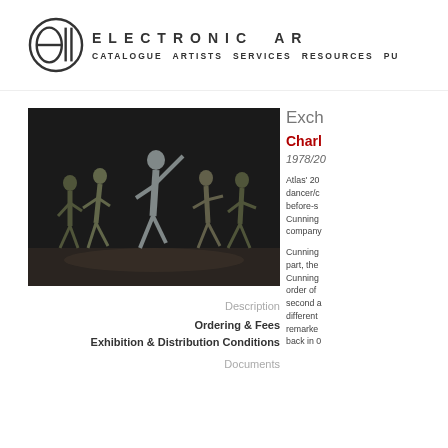ELECTRONIC AR | CATALOGUE  ARTISTS  SERVICES  RESOURCES  PU
[Figure (photo): Dance performance photo showing five dancers on a dark stage, one central dancer in grey outfit with arm raised, others in various poses around him]
Exch
Charl
1978/20
Atlas' 20 dancer/c before-s Cunning company
Cunning part, the Cunning order of second a different remarke back in 0
Description
Ordering & Fees
Exhibition & Distribution Conditions
Documents